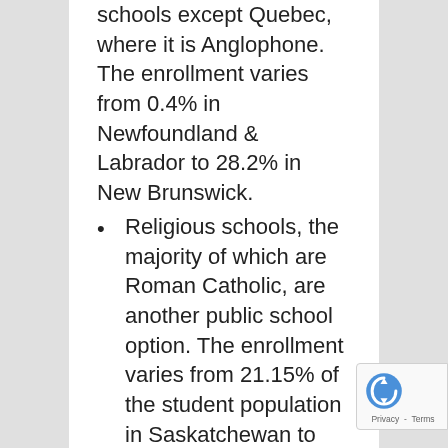schools except Quebec, where it is Anglophone.  The enrollment varies from 0.4% in Newfoundland & Labrador to 28.2% in New Brunswick.
Religious schools, the majority of which are Roman Catholic, are another public school option. The enrollment varies from 21.15% of the student population in Saskatchewan to 30.3% in Ontario.
Charter schools provide another option that offersalternative education programs.
The enrollment in principal language schools, alternative language schools,immersion